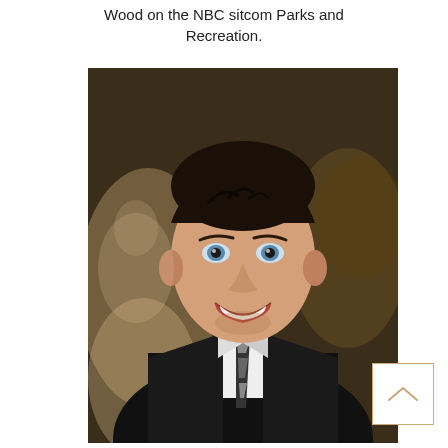Wood on the NBC sitcom Parks and Recreation.
[Figure (photo): A smiling man in a black suit and striped tie at what appears to be a formal event, with blurred figures in the background.]